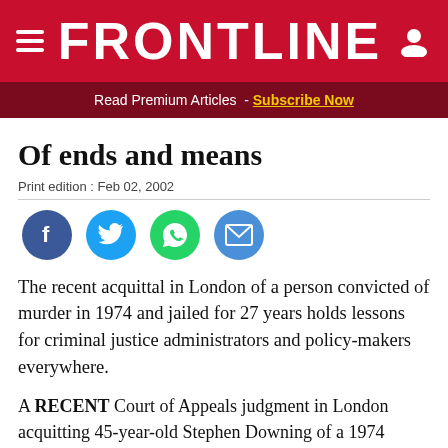FRONTLINE
Read Premium Articles - Subscribe Now
Of ends and means
Print edition : Feb 02, 2002
[Figure (infographic): Social sharing icons: Facebook, Twitter, WhatsApp, Email]
The recent acquittal in London of a person convicted of murder in 1974 and jailed for 27 years holds lessons for criminal justice administrators and policy-makers everywhere.
A RECENT Court of Appeals judgment in London acquitting 45-year-old Stephen Downing of a 1974 murder in Derbyshire has rightly earned wide